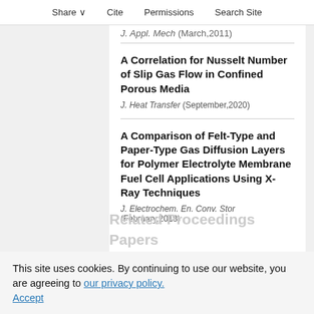Share  Cite  Permissions  Search Site
J. Appl. Mech (March,2011)
A Correlation for Nusselt Number of Slip Gas Flow in Confined Porous Media
J. Heat Transfer (September,2020)
A Comparison of Felt-Type and Paper-Type Gas Diffusion Layers for Polymer Electrolyte Membrane Fuel Cell Applications Using X-Ray Techniques
J. Electrochem. En. Conv. Stor (February,2018)
This site uses cookies. By continuing to use our website, you are agreeing to our privacy policy. Accept